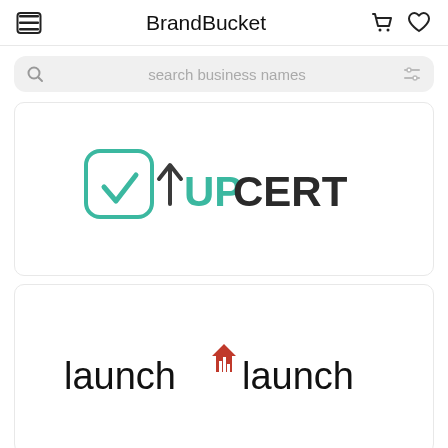BrandBucket
search business names
[Figure (logo): UpCert logo: teal rounded square with checkmark and upward arrow, text 'UPCERT' in teal and dark]
[Figure (logo): LaunchLaunch logo: black lowercase text 'launch' with red house/launch icon in the middle, repeated 'launch']